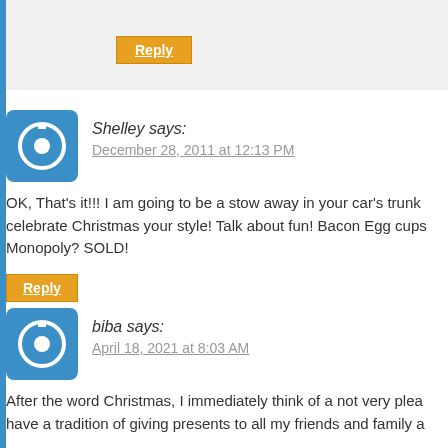Reply
Shelley says:
December 28, 2011 at 12:13 PM
OK, That's it!!! I am going to be a stow away in your car's trunk celebrate Christmas your style! Talk about fun! Bacon Egg cups Monopoly? SOLD!
Reply
biba says:
April 18, 2021 at 8:03 AM
After the word Christmas, I immediately think of a not very plea have a tradition of giving presents to all my friends and family a